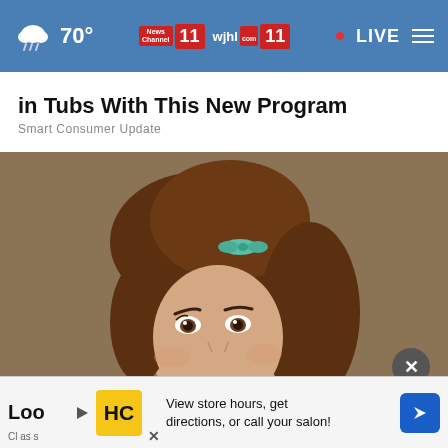70° News Channel 11 wjhl.com 11 • LIVE
in Tubs With This New Program
Smart Consumer Update
[Figure (photo): Portrait of a young woman with a 1960s-style bouffant updo hairstyle with a teal bow, wearing a light green top, photographed against a brown background.]
Loo
Cl as s
View store hours, get directions, or call your salon!